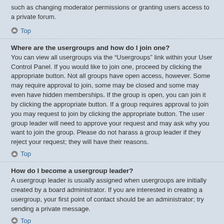such as changing moderator permissions or granting users access to a private forum.
Top
Where are the usergroups and how do I join one?
You can view all usergroups via the “Usergroups” link within your User Control Panel. If you would like to join one, proceed by clicking the appropriate button. Not all groups have open access, however. Some may require approval to join, some may be closed and some may even have hidden memberships. If the group is open, you can join it by clicking the appropriate button. If a group requires approval to join you may request to join by clicking the appropriate button. The user group leader will need to approve your request and may ask why you want to join the group. Please do not harass a group leader if they reject your request; they will have their reasons.
Top
How do I become a usergroup leader?
A usergroup leader is usually assigned when usergroups are initially created by a board administrator. If you are interested in creating a usergroup, your first point of contact should be an administrator; try sending a private message.
Top
Why do some usergroups appear in a different colour?